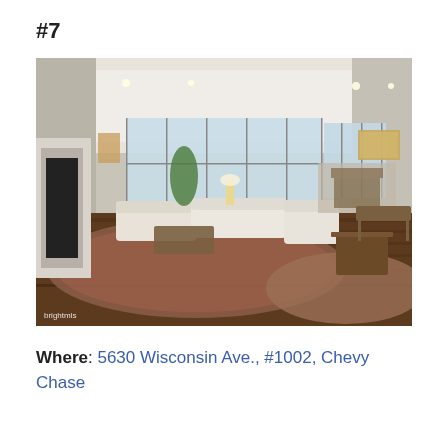#7
[Figure (photo): Interior photo of a spacious living room with hardwood floors, large area rugs, cream sofas, floor-to-ceiling windows, a fireplace on the left wall, and a dining area visible in the background. BrightMLS watermark in bottom-left corner.]
Where: 5630 Wisconsin Ave., #1002, Chevy Chase